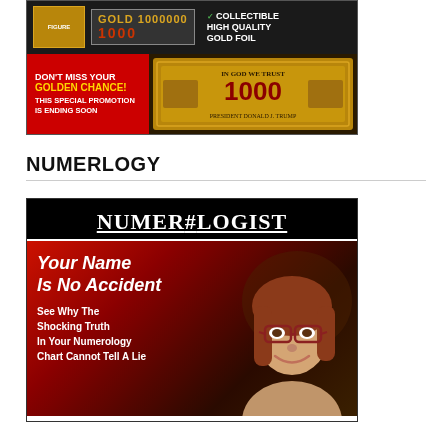[Figure (photo): Advertisement for a collectible gold foil item featuring text: COLLECTIBLE HIGH QUALITY GOLD FOIL, DON'T MISS YOUR GOLDEN CHANCE! THIS SPECIAL PROMOTION IS ENDING SOON, with an image of a gold $1000 bill.]
NUMERLOGY
[Figure (photo): Advertisement for Numerologist.com showing NUMEROLOGIST logo, with text: Your Name Is No Accident - See Why The Shocking Truth In Your Numerology Chart Cannot Tell A Lie, with a photo of a young woman with glasses.]